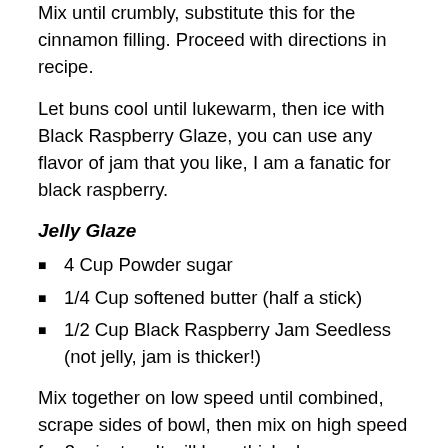Mix until crumbly, substitute this for the cinnamon filling. Proceed with directions in recipe.
Let buns cool until lukewarm, then ice with Black Raspberry Glaze, you can use any flavor of jam that you like, I am a fanatic for black raspberry.
Jelly Glaze
4 Cup Powder sugar
1/4 Cup softened butter (half a stick)
1/2 Cup Black Raspberry Jam Seedless (not jelly, jam is thicker!)
Mix together on low speed until combined, scrape sides of bowl, then mix on high speed for 3 minutes. It will be a thick glaze, more like a butter cream.
Eat them while warm and don't forget a tall glass of milk.